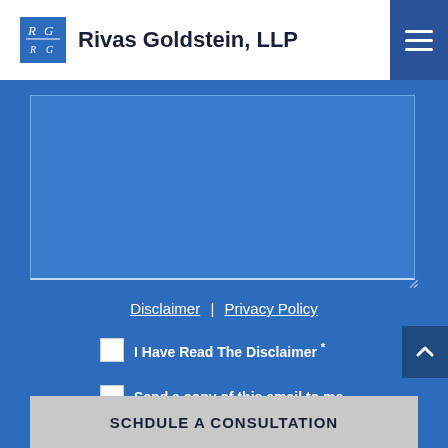[Figure (logo): Rivas Goldstein LLP logo with RG monogram in blue square]
Rivas Goldstein, LLP
Disclaimer | Privacy Policy
I Have Read The Disclaimer *
Send a copy of this email to me.
SCHDULE A CONSULTATION